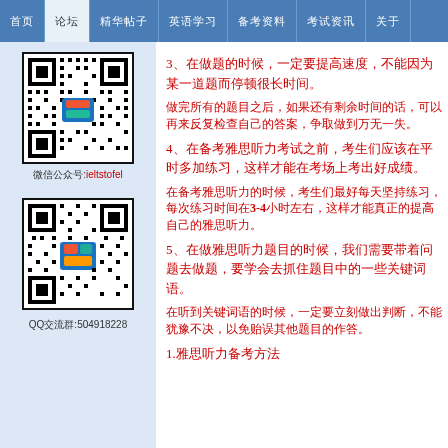首页 论坛 精华帖子 英语学习 备考资料 考试资讯 关于
[Figure (other): QR code image with colored center logo, labeled 微信公众号:ieltstofel]
微信公众号:ieltstofel
[Figure (other): QR code image with colored center logo, labeled QQ交流群:504918228]
QQ交流群:504918228
3、在做题的时候，一定要提高速度，不能因为某一道题而停顿很长时间。
做完所有的题目之后，如果还有剩余时间的话，可以再来反复检查自己的答案，争取做到万无一失。
4、在备考雅思听力考试之前，考生们应该在平时多加练习，这样才能在考场上考出好成绩。
在备考雅思听力的时候，考生们最好每天坚持练习，每次练习时间在3-4小时左右，这样才能真正的提高自己的雅思听力。
5、在做雅思听力题目的时候，我们需要带着问题去做题，要学会去抓住题目中的一些关键词语。

在听到关键词语的时候，一定要立刻做出判断，不能犹豫不决，以免贻误其他题目的作答。
1.雅思听力备考方法